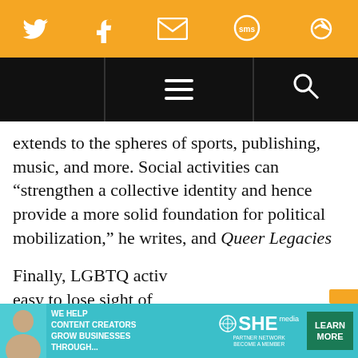[Figure (screenshot): Orange social media sharing bar with Twitter, Facebook, email, SMS, and share icons in white]
[Figure (screenshot): Black navigation bar with hamburger menu icon in center and search icon on right]
extends to the spheres of sports, publishing, music, and more. Social activities can “strengthen a collective identity and hence provide a more solid foundation for political mobilization,” he writes, and Queer Legacies
Finally, LGBTQ activ easy to lose sight of given how often que
[Figure (screenshot): SHE Media partner network advertisement banner with teal background: 'We Help Content Creators Grow Businesses Through...' with SHE logo and Learn More button]